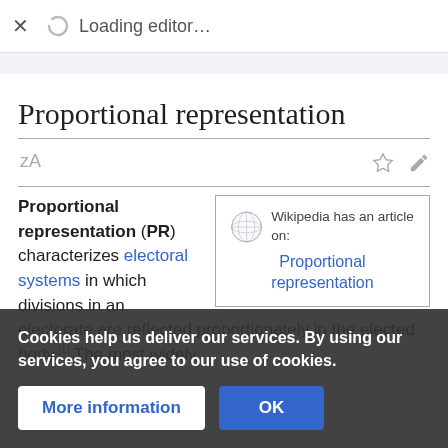× Loading editor…
Proportional representation
Proportional representation (PR) characterizes electoral systems in which divisions in an electorate are reflected proportionately in the elected body.[1] The most widely used electoral systems are … Single Transferable Vote (STV), and mixed-member proportional representation (MMP).[2]
[Figure (other): Wikipedia globe logo]
Wikipedia has an article on: Proportional representation
Cookies help us deliver our services. By using our services, you agree to our use of cookies.
More information   OK